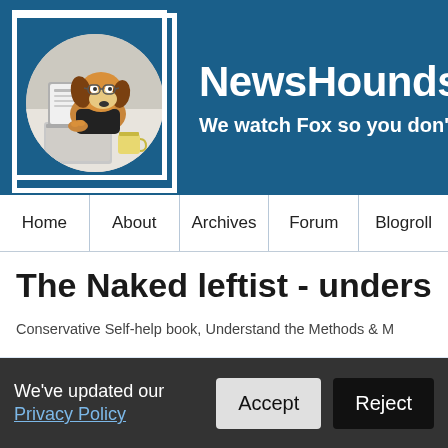NewsHounds — We watch Fox so you don't ha
[Figure (logo): NewsHounds website header with logo showing a beagle dog wearing glasses, working at a laptop with a coffee cup, inside a circle on a dark blue background. Site title: NewsHounds. Tagline: We watch Fox so you don't ha]
Home | About | Archives | Forum | Blogroll
The Naked leftist - understa
Conservative Self-help book, Understand the Methods & M
We've updated our Privacy Policy  [Accept] [Reject]